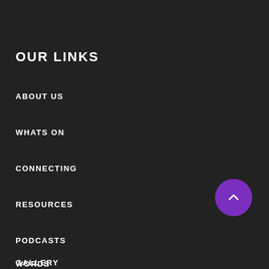OUR LINKS
ABOUT US
WHATS ON
CONNECTING
RESOURCES
PODCASTS
WORDS
GALLERY
[Figure (illustration): Purple circular back-to-top button with upward chevron arrow]